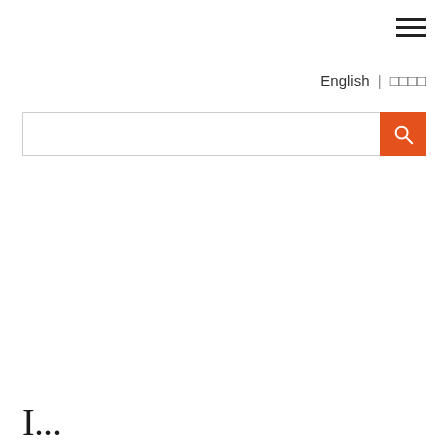[Figure (other): Hamburger menu icon (three horizontal lines) in top right corner]
English | □□□□
[Figure (other): Search bar with text input field and orange search button with magnifying glass icon]
I...